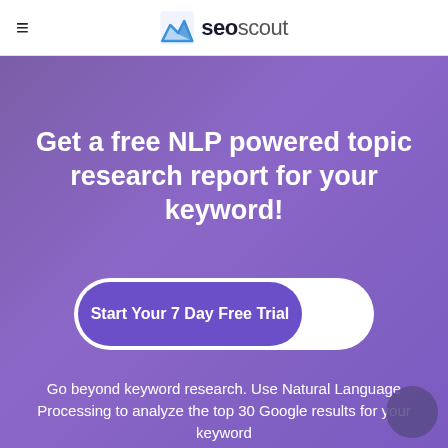seoscout
Get a free NLP powered topic research report for your keyword!
Start Your 7 Day Free Trial
Go beyond keyword research. Use Natural Language Processing to analyze the top 30 Google results for your keyword
Edit your content using our assistant & ensure your article covers all the entities and topics Google expects you to include.